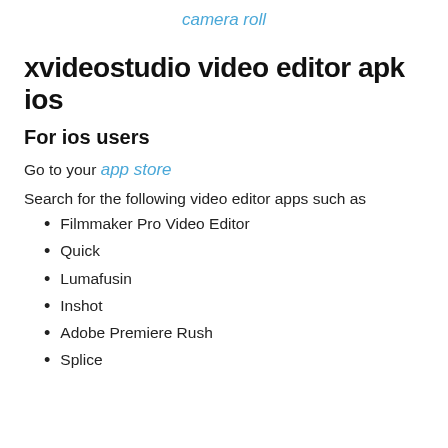camera roll
xvideostudio video editor apk ios
For ios users
Go to your app store
Search for the following video editor apps such as
Filmmaker Pro Video Editor
Quick
Lumafusin
Inshot
Adobe Premiere Rush
Splice